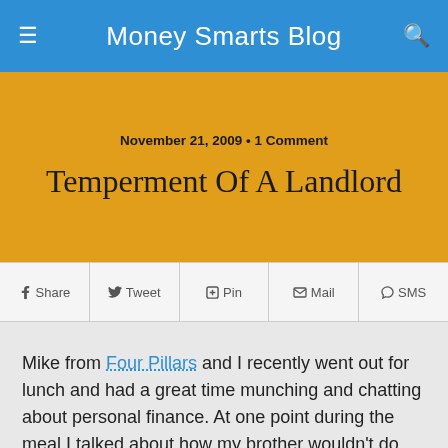Money Smarts Blog
November 21, 2009 • 1 Comment
Temperment Of A Landlord
Share  Tweet  Pin  Mail  SMS
Mike from Four Pillars and I recently went out for lunch and had a great time munching and chatting about personal finance. At one point during the meal I talked about how my brother wouldn't do well investing in real estate as he would react quite strongly to tenant complaints. Mike thought this